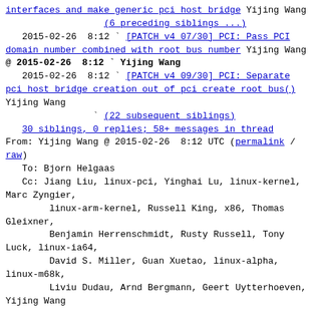[PATCH v4 06/30] ... abstract pci host bridge interfaces and make generic pci host bridge Yijing Wang
(6 preceding siblings ...)
2015-02-26  8:12  `  [PATCH v4 07/30] PCI: Pass PCI domain number combined with root bus number Yijing Wang
@ 2015-02-26  8:12  `  Yijing Wang
2015-02-26  8:12  `  [PATCH v4 09/30] PCI: Separate pci host bridge creation out of pci create root bus() Yijing Wang
(22 subsequent siblings)
30 siblings, 0 replies; 58+ messages in thread
From: Yijing Wang @ 2015-02-26  8:12 UTC (permalink / raw)
To: Bjorn Helgaas
Cc: Jiang Liu, linux-pci, Yinghai Lu, linux-kernel, Marc Zyngier, linux-arm-kernel, Russell King, x86, Thomas Gleixner, Benjamin Herrenschmidt, Rusty Russell, Tony Luck, linux-ia64, David S. Miller, Guan Xuetao, linux-alpha, linux-m68k, Liviu Dudau, Arnd Bergmann, Geert Uytterhoeven, Yijing Wang
Introduce pci_host_assign_domain_nr() to assign domain number for pci_host_bridge. Later we will remove pci_bus_assign_domain_nr().
Signed-off-by: Yijing Wang <wangyijing@huawei.com>